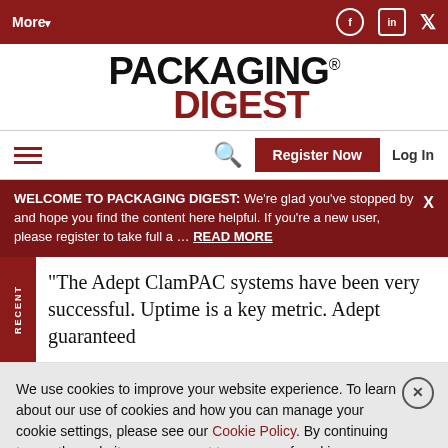More▾  [Facebook] [LinkedIn] [Twitter]
[Figure (logo): Packaging Digest logo — PACKAGING in black bold, DIGEST in dark red bold]
≡ [search] [Register Now] [Log In]
WELCOME TO PACKAGING DIGEST: We're glad you've stopped by and hope you find the content here helpful. If you're a new user, please register to take full a ... READ MORE  X
"The Adept ClamPAC systems have been very successful. Uptime is a key metric. Adept guaranteed
We use cookies to improve your website experience. To learn about our use of cookies and how you can manage your cookie settings, please see our Cookie Policy. By continuing to use the website, you consent to our use of cookies.